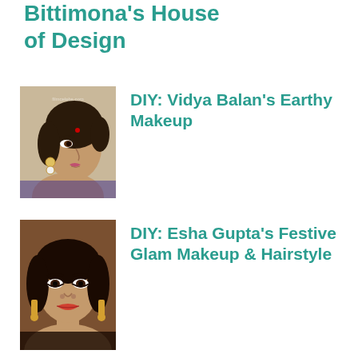Bittimona's House of Design
[Figure (photo): Portrait photo of Vidya Balan, a woman with dark hair and pearl earrings, smiling in profile]
DIY: Vidya Balan's Earthy Makeup
[Figure (photo): Portrait photo of Esha Gupta, a woman with dramatic makeup looking directly at camera]
DIY: Esha Gupta's Festive Glam Makeup & Hairstyle